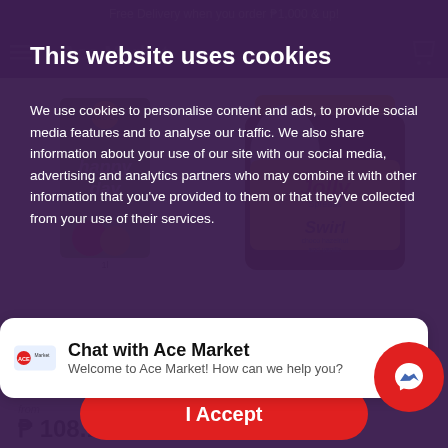Free Delivery when you order ₱1,000 & up!
This website uses cookies
We use cookies to personalise content and ads, to provide social media features and to analyse our traffic. We also share information about your use of our site with our social media, advertising and analytics partners who may combine it with other information that you've provided to them or that they've collected from your use of their services.
[Figure (screenshot): Quick Shop button (left), outlined purple rounded rectangle]
[Figure (screenshot): Quick Shop button (right), outlined purple rounded rectangle]
[Figure (screenshot): I Accept red rounded button for cookie consent]
[Figure (photo): Rauch Happy Day apple juice carton (1L)]
[Figure (photo): Jolly Spreads Swirl chocolate spread jar with yellow lid]
Happy Day Apple ...
Jolly Spreads Swirl ...
[Figure (screenshot): Ace Market chat widget: logo, Chat with Ace Market, Welcome to Ace Market! How can we help you?]
from ₱ 108.10
from ₱ 143.80